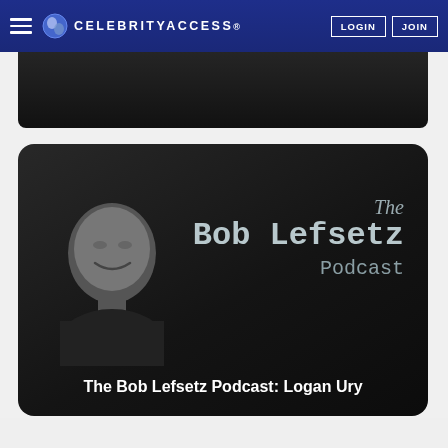CELEBRITYACCESS. LOGIN JOIN
[Figure (screenshot): Partially visible dark banner image at top of page content area]
[Figure (illustration): The Bob Lefsetz Podcast card with grayscale photo of Bob Lefsetz and podcast logo text on dark background. Episode title: The Bob Lefsetz Podcast: Logan Ury]
The Bob Lefsetz Podcast: Logan Ury